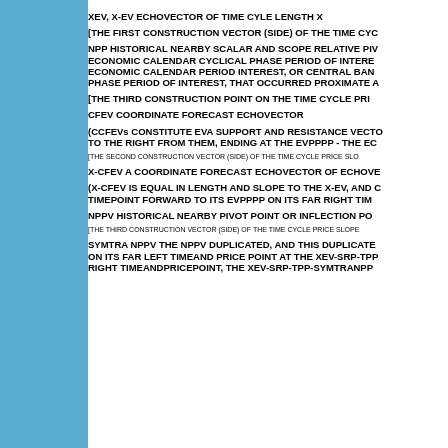XEV, X-EV ECHOVECTOR OF TIME CYLE LENGTH X
[THE FIRST CONSTRUCTION VECTOR (SIDE) OF THE TIME CYC
NPP HISTORICAL NEARBY SCALAR AND SCOPE RELATIVE PIV ECONOMIC CALENDAR CYCLICAL PHASE PERIOD OF INTERE ECONOMIC CALENDAR PERIOD INTEREST, OR CENTRAL BAN PHASE PERIOD OF INTEREST, THAT OCCURRED PROXIMATE A
[THE THIRD CONSTRUCTION POINT ON THE TIME CYCLE PRI
CFEV COORDINATE FORECAST ECHOVECTOR
(CCFEVs CONSTITUTE EVA SUPPORT AND RESISTANCE VECTO TO THE RIGHT FROM THEM, ENDING AT THE EVPPPP - THE EC
[THE SECOND CONSTRUCTION VECTOR (SIDE) OF THE TIME CYCLE PRICE SLO
X-CFEV A COORDINATE FORECAST ECHOVECTOR OF ECHOVE
(X-CFEV IS EQUAL IN LENGTH AND SLOPE TO THE X-EV, AND C TIMEPOINT FORWARD TO ITS EVPPPP ON ITS FAR RIGHT TIM
NPPV HISTORICAL NEARBY PIVOT POINT OR INFLECTION PO
[THE THIRD CONSTRUCTION VECTOR (SIDE) OF THE TIME CYCLE PRICE SLOPE
SYMTRA NPPV THE NPPV DUPLICATED, AND THIS DUPLICATE ON ITS FAR LEFT TIMEAND PRICE POINT AT THE XEV-SRP-TPP RIGHT TIMEANDPRICEPOINT, THE XEV-SRP-TPP-SYMTRANPP